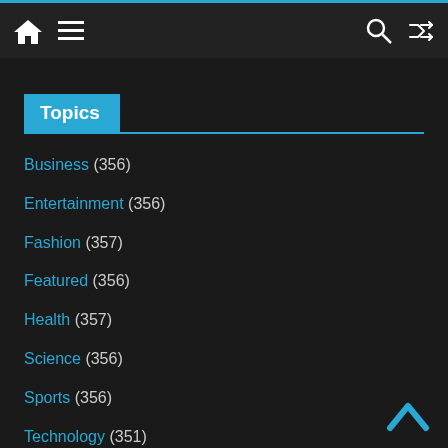Navigation bar with home, menu, search, and shuffle icons
Topics
Business (356)
Entertainment (356)
Fashion (357)
Featured (356)
Health (357)
Science (356)
Sports (356)
Technology (351)
Uncategorized (353)